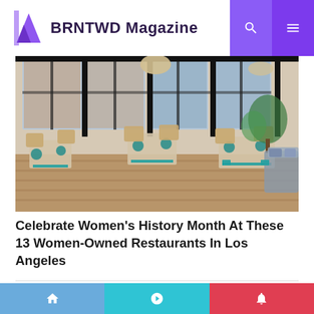BRNTWD Magazine
[Figure (photo): Interior of an upscale restaurant dining room with large windows, rattan chairs, tables set with teal/turquoise napkins and glasses, tropical plants, and a warm wood floor. Urban brick building visible through windows.]
Celebrate Women's History Month At These 13 Women-Owned Restaurants In Los Angeles
CATEGORIES